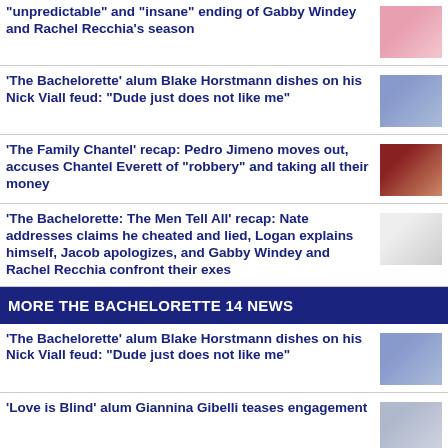"unpredictable" and "insane" ending of Gabby Windey and Rachel Recchia's season
'The Bachelorette' alum Blake Horstmann dishes on his Nick Viall feud: "Dude just does not like me"
'The Family Chantel' recap: Pedro Jimeno moves out, accuses Chantel Everett of "robbery" and taking all their money
'The Bachelorette: The Men Tell All' recap: Nate addresses claims he cheated and lied, Logan explains himself, Jacob apologizes, and Gabby Windey and Rachel Recchia confront their exes
MORE THE BACHELORETTE 14 NEWS
'The Bachelorette' alum Blake Horstmann dishes on his Nick Viall feud: "Dude just does not like me"
'Love is Blind' alum Giannina Gibelli teases engagement